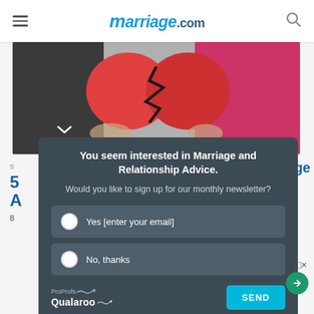marriage.com
[Figure (photo): Two people holding a broken red paper heart, one in dark clothing, one in pink/magenta clothing]
S
5 A
B
ge
You seem interested in Marriage and Relationship Advice.

Would you like to sign up for our monthly newsletter?
Yes [enter your email]
No, thanks
ProProfs Qualaroo
SEND